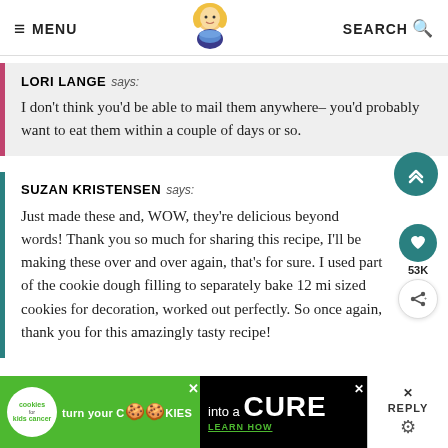≡ MENU | [logo] | SEARCH 🔍
LORI LANGE says: I don't think you'd be able to mail them anywhere– you'd probably want to eat them within a couple of days or so.
SUZAN KRISTENSEN says: Just made these and, WOW, they're delicious beyond words! Thank you so much for sharing this recipe, I'll be making these over and over again, that's for sure. I used part of the cookie dough filling to separately bake 12 mi sized cookies for decoration, worked out perfectly. So once again, thank you for this amazingly tasty recipe!
[Figure (screenshot): Ad banner at bottom: 'cookies for kids cancer - turn your COOKIES into a CURE LEARN HOW' with close and reply buttons]